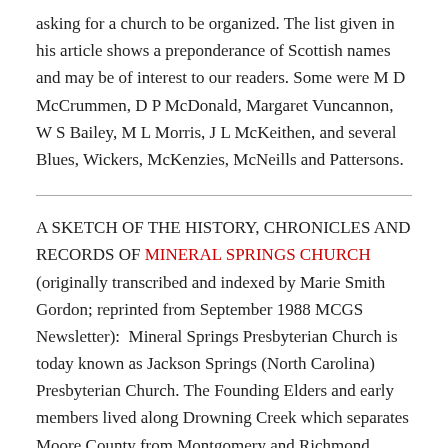asking for a church to be organized. The list given in his article shows a preponderance of Scottish names and may be of interest to our readers. Some were M D McCrummen, D P McDonald, Margaret Vuncannon, W S Bailey, M L Morris, J L McKeithen, and several Blues, Wickers, McKenzies, McNeills and Pattersons.
A SKETCH OF THE HISTORY, CHRONICLES AND RECORDS OF MINERAL SPRINGS CHURCH (originally transcribed and indexed by Marie Smith Gordon; reprinted from September 1988 MCGS Newsletter):  Mineral Springs Presbyterian Church is today known as Jackson Springs (North Carolina) Presbyterian Church. The Founding Elders and early members lived along Drowning Creek which separates Moore County from Montgomery and Richmond Counties. They were